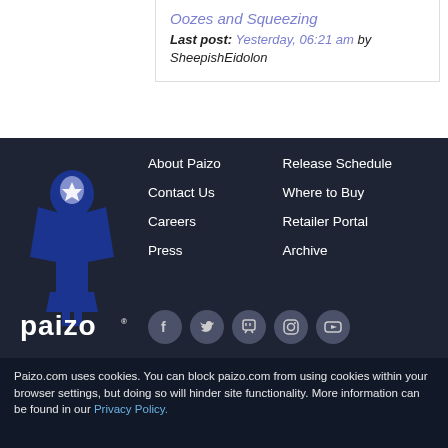Oozes and Squeezing
Last post: Yesterday, 06:21 am by SheepishEidolon
[Figure (logo): Paizo logo: stylized blue-robed figure with white font 'paizo' and registered trademark symbol]
About Paizo
Contact Us
Careers
Press
Release Schedule
Where to Buy
Retailer Portal
Archive
[Figure (infographic): Row of five social media icons: Facebook, Twitter, Twitch, Instagram, YouTube — grey circles on dark background]
Paizo.com uses cookies. You can block paizo.com from using cookies within your browser settings, but doing so will hinder site functionality. More information can be found in our Privacy Policy.
OK